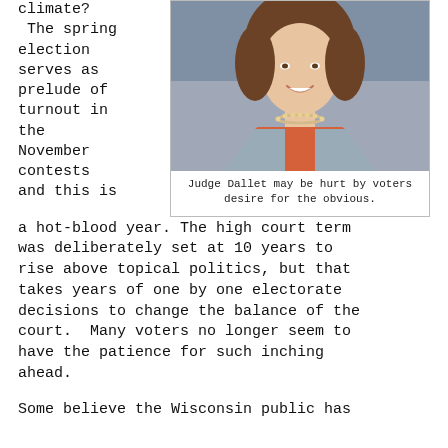climate?
 The spring election serves as prelude of turnout in the November contests and this is
[Figure (photo): Photo of Judge Dallet, a woman with curly hair wearing a grey blazer and orange top with a pearl necklace, smiling.]
Judge Dallet may be hurt by voters desire for the obvious.
a hot-blood year. The high court term was deliberately set at 10 years to rise above topical politics, but that takes years of one by one electorate decisions to change the balance of the court. Many voters no longer seem to have the patience for such inching ahead.
Some believe the Wisconsin public has